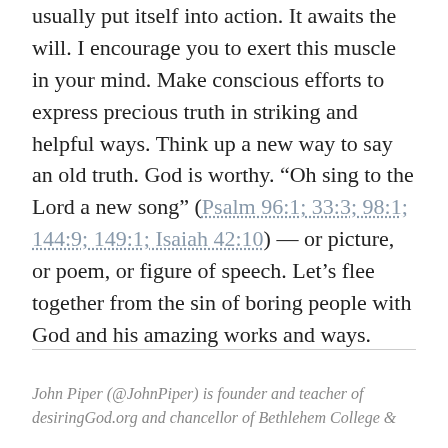usually put itself into action. It awaits the will. I encourage you to exert this muscle in your mind. Make conscious efforts to express precious truth in striking and helpful ways. Think up a new way to say an old truth. God is worthy. “Oh sing to the Lord a new song” (Psalm 96:1; 33:3; 98:1; 144:9; 149:1; Isaiah 42:10) — or picture, or poem, or figure of speech. Let’s flee together from the sin of boring people with God and his amazing works and ways.
John Piper (@JohnPiper) is founder and teacher of desiringGod.org and chancellor of Bethlehem College &